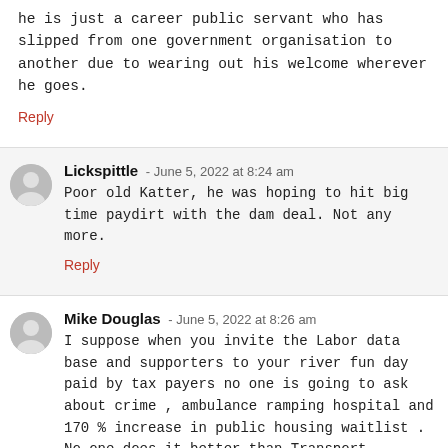he is just a career public servant who has slipped from one government organisation to another due to wearing out his welcome wherever he goes.
Reply
Lickspittle - June 5, 2022 at 8:24 am
Poor old Katter, he was hoping to hit big time paydirt with the dam deal. Not any more.
Reply
Mike Douglas - June 5, 2022 at 8:26 am
I suppose when you invite the Labor data base and supporters to your river fun day paid by tax payers no one is going to ask about crime , ambulance ramping hospital and 170 % increase in public housing waitlist . No one does it better than Transport Minister Bailey blowing tax payers $ with $490mil blowout on Gold Coast light rail , $213 mil Coopers plains rail crossing , $600 mil Coomera Connector . $ 1 bil and thats one department .